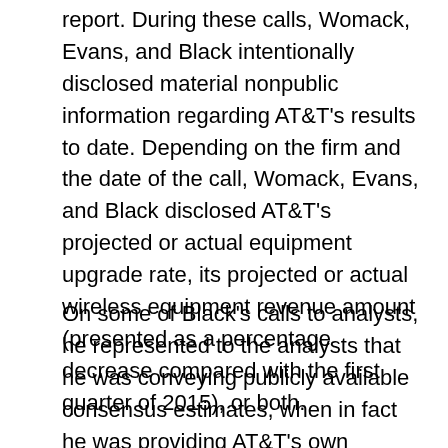report. During these calls, Womack, Evans, and Black intentionally disclosed material nonpublic information regarding AT&T's results to date. Depending on the firm and the date of the call, Womack, Evans, and Black disclosed AT&T's projected or actual equipment upgrade rate, its projected or actual wireless equipment revenue amount (presented as a percentage decrease compared with the first quarter of 2015), or both.
On some of Black's calls to analysts, he represented to the analysts that he was conveying publicly available consensus estimates, when in fact he was providing AT&T's own internal projected or actual results. Black knew or recklessly disregarded that he